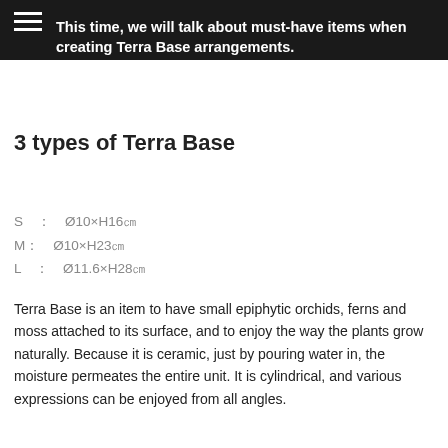This time, we will talk about must-have items when creating Terra Base arrangements.
3 types of Terra Base
S : Ø10×H16㎝
M : Ø10×H23㎝
L : Ø11.6×H28㎝
Terra Base is an item to have small epiphytic orchids, ferns and moss attached to its surface, and to enjoy the way the plants grow naturally. Because it is ceramic, just by pouring water in, the moisture permeates the entire unit. It is cylindrical, and various expressions can be enjoyed from all angles.